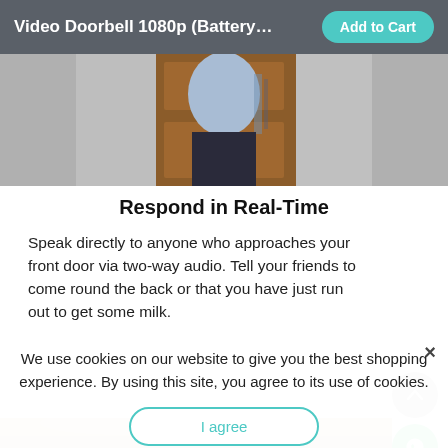Video Doorbell 1080p (Battery-...
[Figure (photo): Photo of a person standing at a front door, seen from doorbell camera angle, showing torso in light blue shirt against a wooden door]
Respond in Real-Time
Speak directly to anyone who approaches your front door via two-way audio. Tell your friends to come round the back or that you have just run out to get some milk.
[Figure (photo): Partial photo of hands holding a device, partially obscured by cookie consent overlay]
We use cookies on our website to give you the best shopping experience. By using this site, you agree to its use of cookies.